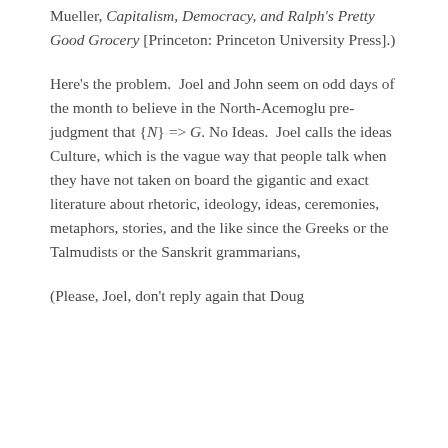Mueller, Capitalism, Democracy, and Ralph's Pretty Good Grocery [Princeton: Princeton University Press].)
Here's the problem.  Joel and John seem on odd days of the month to believe in the North-Acemoglu pre-judgment that {N} => G.  No Ideas.  Joel calls the ideas Culture, which is the vague way that people talk when they have not taken on board the gigantic and exact literature about rhetoric, ideology, ideas, ceremonies, metaphors, stories, and the like since the Greeks or the Talmudists or the Sanskrit grammarians,
(Please, Joel, don't reply again that Doug